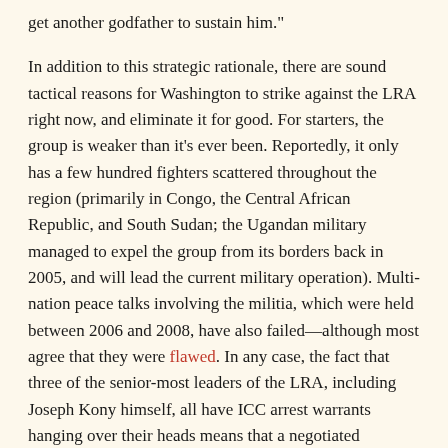get another godfather to sustain him."
In addition to this strategic rationale, there are sound tactical reasons for Washington to strike against the LRA right now, and eliminate it for good. For starters, the group is weaker than it's ever been. Reportedly, it only has a few hundred fighters scattered throughout the region (primarily in Congo, the Central African Republic, and South Sudan; the Ugandan military managed to expel the group from its borders back in 2005, and will lead the current military operation). Multi-nation peace talks involving the militia, which were held between 2006 and 2008, have also failed—although most agree that they were flawed. In any case, the fact that three of the senior-most leaders of the LRA, including Joseph Kony himself, all have ICC arrest warrants hanging over their heads means that a negotiated settlement of any kind is highly unlikely. During the peace talks, the group's leaders intimated that they had no intention of standing trial at The Hague.
That said, the specter of another military offensive against the LRA raises some uncomfortable questions about Washington's intentions and capabilities. Back in December of 2008, the U.S.